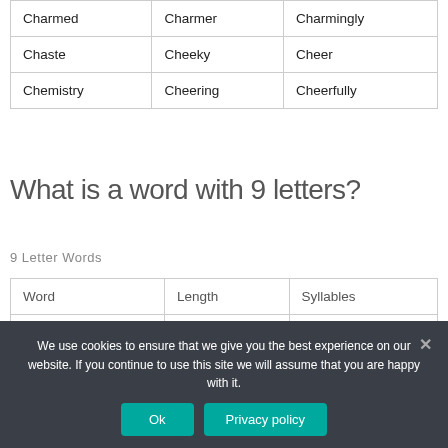| Word | Length | Syllables |
| --- | --- | --- |
| Charmed | Charmer | Charmingly |
| Chaste | Cheeky | Cheer |
| Chemistry | Cheering | Cheerfully |
What is a word with 9 letters?
9 Letter Words
| Word | Length | Syllables |
| --- | --- | --- |
| Crocodile | 9 | 3 |
We use cookies to ensure that we give you the best experience on our website. If you continue to use this site we will assume that you are happy with it.